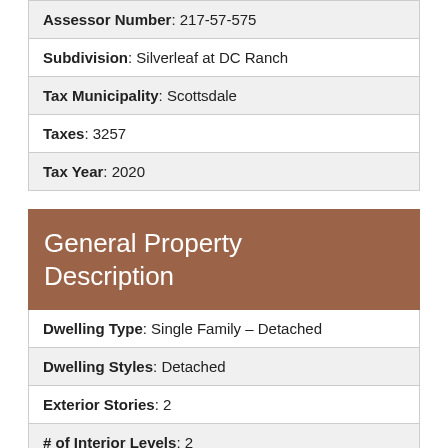| Assessor Number: 217-57-575 |
| Subdivision: Silverleaf at DC Ranch |
| Tax Municipality: Scottsdale |
| Taxes: 3257 |
| Tax Year: 2020 |
General Property Description
| Dwelling Type: Single Family – Detached |
| Dwelling Styles: Detached |
| Exterior Stories: 2 |
| # of Interior Levels: 2 |
| # Bedrooms: 5 |